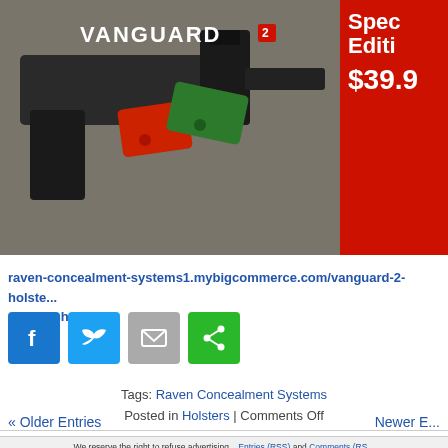[Figure (photo): Advertisement for Vanguard 2 holster system showing two holsters (red and green) with a handgun on a decorative surface. Right side shows red panel with 'Special Edition $39.9' pricing text.]
raven-concealment-systems1.mybigcommerce.com/vanguard-2-holste... glocky-christmas
[Figure (other): Social sharing buttons: Facebook (blue), Twitter (blue), Email (gray), Share (green)]
Tags: Raven Concealment Systems
Posted in Holsters | Comments Off
« Older Entries    Newer E...
We reserve the right to refuse advertising... Entries (RSS) and Comments (RS... Soldier Systems Daily is in no way affiliated with th... Copyright © Soldier Systems Daily 2008-2021. A...